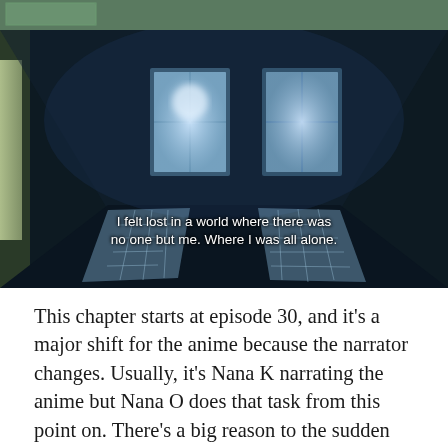[Figure (screenshot): Anime screenshot of a dark empty room with two windows on the far wall letting in blue-white light, and two rectangular patches of light on the dark floor. White subtitle text reads: 'I felt lost in a world where there was no one but me. Where I was all alone.']
This chapter starts at episode 30, and it's a major shift for the anime because the narrator changes. Usually, it's Nana K narrating the anime but Nana O does that task from this point on. There's a big reason to the sudden shift, but it mostly signals that the story is finally ripening up. While the first chapter built the foundation of the story